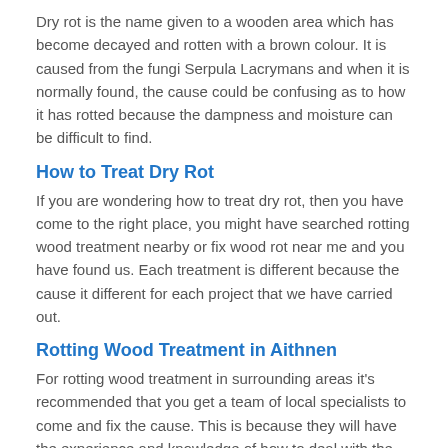Dry rot is the name given to a wooden area which has become decayed and rotten with a brown colour. It is caused from the fungi Serpula Lacrymans and when it is normally found, the cause could be confusing as to how it has rotted because the dampness and moisture can be difficult to find.
How to Treat Dry Rot
If you are wondering how to treat dry rot, then you have come to the right place, you might have searched rotting wood treatment nearby or fix wood rot near me and you have found us. Each treatment is different because the cause it different for each project that we have carried out.
Rotting Wood Treatment in Aithnen
For rotting wood treatment in surrounding areas it's recommended that you get a team of local specialists to come and fix the cause. This is because they will have the experience and knowledge of how to deal with the issue.
There are companies in the industry who might claim that they know what to do but they could fix some of the issues and leave